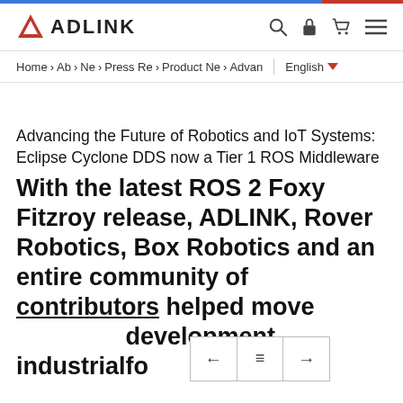ADLINK - website header with logo, search, lock, cart, and menu icons
Home > Ab > Ne > Press Re > Product Ne > Advan | English
Advancing the Future of Robotics and IoT Systems: Eclipse Cyclone DDS now a Tier 1 ROS Middleware
With the latest ROS 2 Foxy Fitzroy release, ADLINK, Rover Robotics, Box Robotics and an entire community of contributors helped move industrial development fo...